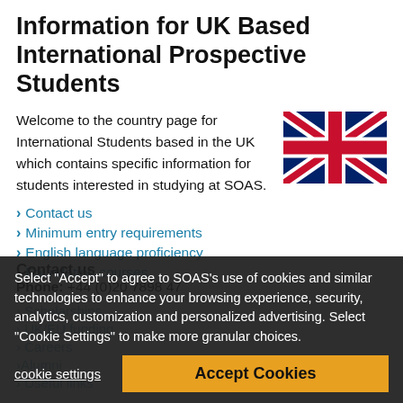Information for UK Based International Prospective Students
Welcome to the country page for International Students based in the UK which contains specific information for students interested in studying at SOAS.
[Figure (illustration): UK flag (Union Jack) illustration]
Contact us
Minimum entry requirements
English language proficiency
Foundation courses
Scholarships
UK/EU funding
Careers
Alumni
Useful links
Contact us
Phone: +44 (0)20 7898 47
Select "Accept" to agree to SOAS's use of cookies and similar technologies to enhance your browsing experience, security, analytics, customization and personalized advertising. Select "Cookie Settings" to make more granular choices.